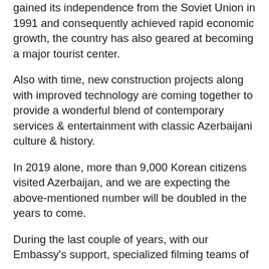gained its independence from the Soviet Union in 1991 and consequently achieved rapid economic growth, the country has also geared at becoming a major tourist center.
Also with time, new construction projects along with improved technology are coming together to provide a wonderful blend of contemporary services & entertainment with classic Azerbaijani culture & history.
In 2019 alone, more than 9,000 Korean citizens visited Azerbaijan, and we are expecting the above-mentioned number will be doubled in the years to come.
During the last couple of years, with our Embassy's support, specialized filming teams of